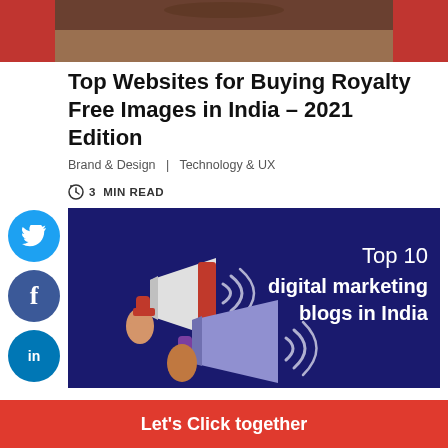[Figure (photo): Top portion of a vehicle image, cropped at the top of the page]
Top Websites for Buying Royalty Free Images in India – 2021 Edition
Brand & Design  |  Technology & UX
3 MIN READ
[Figure (illustration): Dark blue banner illustration showing two megaphones held by hands, with sound waves, and text: Top 10 digital marketing blogs in India]
Let's Click together